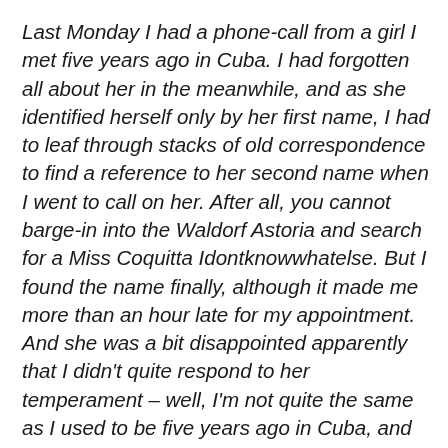Last Monday I had a phone-call from a girl I met five years ago in Cuba. I had forgotten all about her in the meanwhile, and as she identified herself only by her first name, I had to leaf through stacks of old correspondence to find a reference to her second name when I went to call on her. After all, you cannot barge-in into the Waldorf Astoria and search for a Miss Coquitta Idontknowwhatelse. But I found the name finally, although it made me more than an hour late for my appointment. And she was a bit disappointed apparently that I didn't quite respond to her temperament – well, I'm not quite the same as I used to be five years ago in Cuba, and besides she didn't please me any more as much as she did then. You know the old story,- I have met somebody in the meanwhile whom I like so much, much more, and although I still am not above meeting another nice girl, and